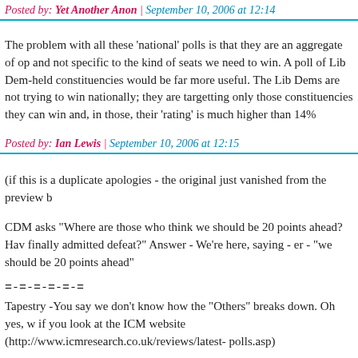Posted by: Yet Another Anon | September 10, 2006 at 12:14
The problem with all these 'national' polls is that they are an aggregate of opinions and not specific to the kind of seats we need to win. A poll of Lib Dem-held constituencies would be far more useful. The Lib Dems are not trying to win nationally; they are targetting only those constituencies they can win and, in those, their 'rating' is much higher than 14%
Posted by: Ian Lewis | September 10, 2006 at 12:15
(if this is a duplicate apologies - the original just vanished from the preview b
CDM asks "Where are those who think we should be 20 points ahead? Have finally admitted defeat?" Answer - We're here, saying - er - "we should be 20 points ahead"
=-=-=-=-=-
Tapestry -You say we don't know how the "Others" breaks down. Oh yes, we do if you look at the ICM website (http://www.icmresearch.co.uk/reviews/latest-polls.asp)
No time to check now but memory produces something like: SNP 5%, Plaid Cymru 3%, Greens 3%, UKIP 2%, Ulster parties 2%.